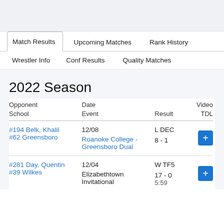[Figure (screenshot): Top gray banner area]
Match Results | Upcoming Matches | Rank History
Wrestler Info | Conf Results | Quality Matches
2022 Season
| Opponent
School | Date
Event | Result | Video
TDL |
| --- | --- | --- | --- |
| #194 Belk, Khalil
#62 Greensboro | 12/08
Roanoke College - Greensboro Dual | L DEC
8 - 1 | + |
| #281 Day, Quentin
#39 Wilkes | 12/04
Elizabethtown Invitational | W TF5
17 - 0
5:59 | + |